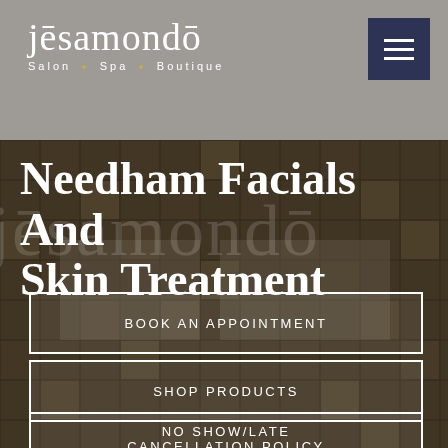jesamondō — Salon · Spa · Boutique
Needham Facials And Skin Treatment
BOOK AN APPOINTMENT
SHOP PRODUCTS
NO SHOW/LATE CANCELLATION POLICY